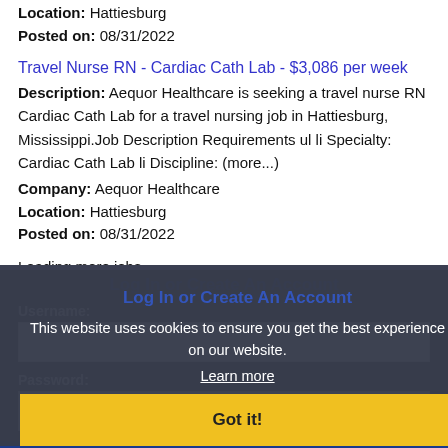Location: Hattiesburg
Posted on: 08/31/2022
Travel Nurse RN - Cardiac Cath Lab - $3,086 per week
Description: Aequor Healthcare is seeking a travel nurse RN Cardiac Cath Lab for a travel nursing job in Hattiesburg, Mississippi.Job Description Requirements ul li Specialty: Cardiac Cath Lab li Discipline: (more...)
Company: Aequor Healthcare
Location: Hattiesburg
Posted on: 08/31/2022
Loading more jobs...
Log In or Create An Account
This website uses cookies to ensure you get the best experience on our website.
Learn more
Username:
Got it!
Password: